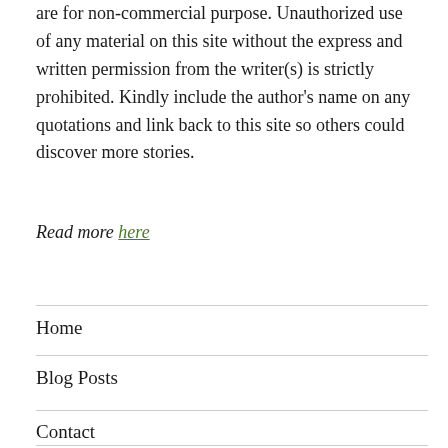are for non-commercial purpose. Unauthorized use of any material on this site without the express and written permission from the writer(s) is strictly prohibited. Kindly include the author's name on any quotations and link back to this site so others could discover more stories.
Read more here
Home
Blog Posts
Contact